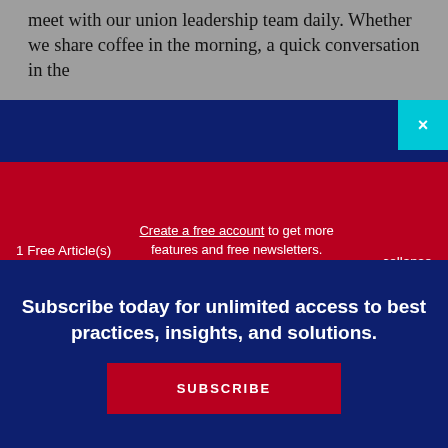meet with our union leadership team daily. Whether we share coffee in the morning, a quick conversation in the
1 Free Article(s) Left
Create a free account to get more features and free newsletters.
SUBSCRIBE FOR UNLIMITED ACCESS
collapse
Subscribe today for unlimited access to best practices, insights, and solutions.
SUBSCRIBE